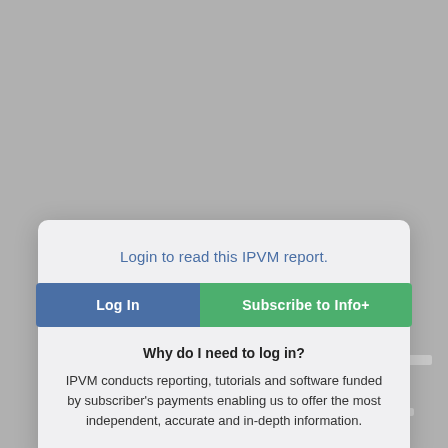[Figure (screenshot): Blurred background of a webpage with gray text bars and partial words 'following', 'company' visible]
Login to read this IPVM report.
[Figure (other): Two buttons: 'Log In' (blue) and 'Subscribe to Info+' (green)]
Why do I need to log in?
IPVM conducts reporting, tutorials and software funded by subscriber's payments enabling us to offer the most independent, accurate and in-depth information.